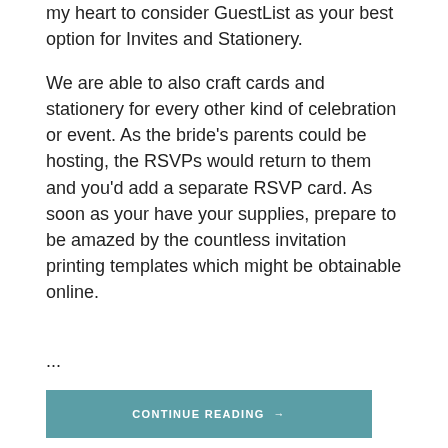my heart to consider GuestList as your best option for Invites and Stationery. We are able to also craft cards and stationery for every other kind of celebration or event. As the bride's parents could be hosting, the RSVPs would return to them and you'd add a separate RSVP card. As soon as your have your supplies, prepare to be amazed by the countless invitation printing templates which might be obtainable online.
...
CONTINUE READING →